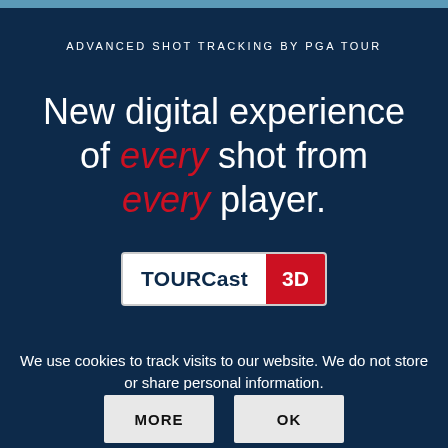ADVANCED SHOT TRACKING BY PGA TOUR
New digital experience of every shot from every player.
[Figure (logo): TOURCast 3D logo — white box with dark blue 'TOURCast' text and red badge with '3D' in white]
We use cookies to track visits to our website. We do not store or share personal information.
MORE
OK